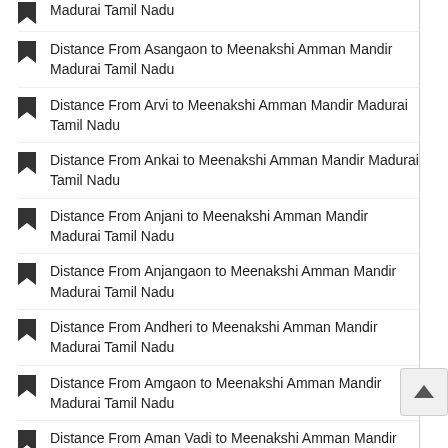Madurai Tamil Nadu
Distance From Asangaon to Meenakshi Amman Mandir Madurai Tamil Nadu
Distance From Arvi to Meenakshi Amman Mandir Madurai Tamil Nadu
Distance From Ankai to Meenakshi Amman Mandir Madurai Tamil Nadu
Distance From Anjani to Meenakshi Amman Mandir Madurai Tamil Nadu
Distance From Anjangaon to Meenakshi Amman Mandir Madurai Tamil Nadu
Distance From Andheri to Meenakshi Amman Mandir Madurai Tamil Nadu
Distance From Amgaon to Meenakshi Amman Mandir Madurai Tamil Nadu
Distance From Aman Vadi to Meenakshi Amman Mandir Madurai Tamil Nadu
Distance From Amalner to Meenakshi Amman Mandir Madurai Tamil Nadu